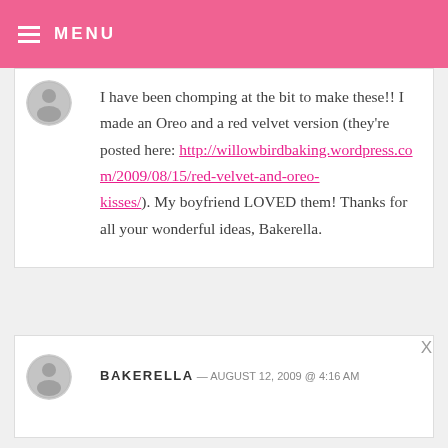MENU
I have been chomping at the bit to make these!! I made an Oreo and a red velvet version (they're posted here: http://willowbirdbaking.wordpress.com/2009/08/15/red-velvet-and-oreo-kisses/). My boyfriend LOVED them! Thanks for all your wonderful ideas, Bakerella.
BAKERELLA — AUGUST 12, 2009 @ 4:16 AM